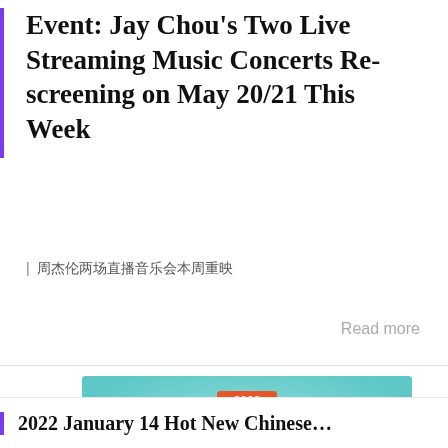Event: Jay Chou's Two Live Streaming Music Concerts Re-screening on May 20/21 This Week
| 周杰伦两场直播音乐会本周重映
Read more
[Figure (photo): Promotional banner for 2022 Shuo Chang Chinese Rap Hip Hop (说唱) event, teal/mint colored background with circular vinyl record design, yellow and teal text.]
2022 January 14 Hot New Chinese…